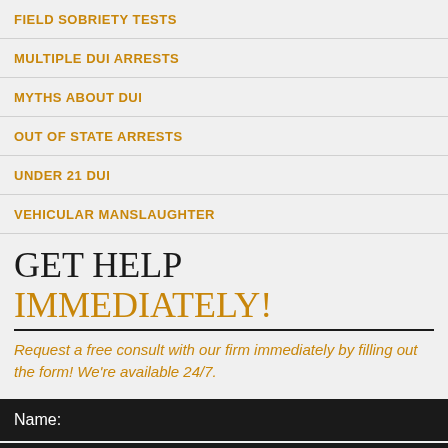FIELD SOBRIETY TESTS
MULTIPLE DUI ARRESTS
MYTHS ABOUT DUI
OUT OF STATE ARRESTS
UNDER 21 DUI
VEHICULAR MANSLAUGHTER
GET HELP IMMEDIATELY!
Request a free consult with our firm immediately by filling out the form! We're available 24/7.
Name: